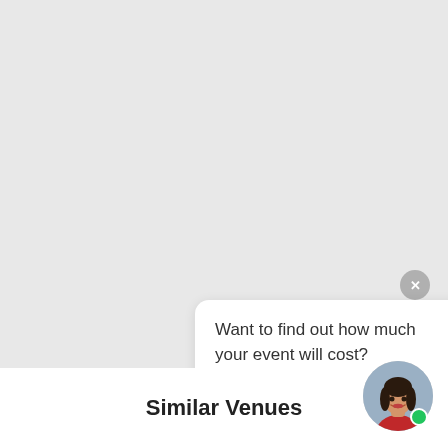[Figure (map): Light gray map background area]
Want to find out how much your event will cost?
Similar Venues
[Figure (photo): Circular avatar photo of a woman with dark hair wearing a red top, with a green online status dot]